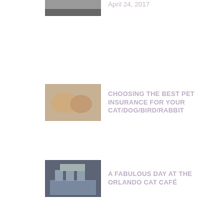Launch Kickstarter Campaign On April 24, 2017
[Figure (photo): Small thumbnail image, partially visible at top]
CHOOSING THE BEST PET INSURANCE FOR YOUR CAT/DOG/BIRD/RABBIT
[Figure (photo): Cats sleeping together]
A FABULOUS DAY AT THE ORLANDO CAT CAFÉ
[Figure (photo): Orlando Cat Café exterior sign]
Cannabis and Calming Top Trends at Global Pet Expo
[Figure (photo): Pet expo photo with animal display]
Feline Tooth Prevention...